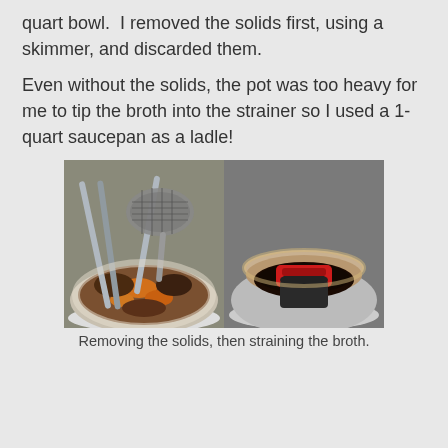quart bowl.  I removed the solids first, using a skimmer, and discarded them.
Even without the solids, the pot was too heavy for me to tip the broth into the strainer so I used a 1-quart saucepan as a ladle!
[Figure (photo): Two side-by-side photos: left shows solids (meat, carrots, vegetables) being removed from a strainer-lined bowl using tongs and a skimmer; right shows dark broth being strained through a coffee filter in a bowl, with a red-handled saucepan.]
Removing the solids, then straining the broth.